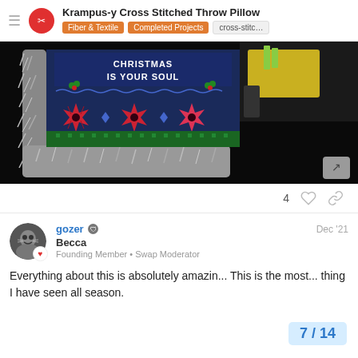Krampus-y Cross Stitched Throw Pillow — Fiber & Textile | Completed Projects | cross-stitc...
[Figure (photo): Photo of a cross-stitched throw pillow with dark navy fabric decorated with red poinsettia flowers and text reading 'CHRISTMAS IS YOUR SOUL', bordered by grey fur trim. Pillow is shown on a dark background with yellow fabric visible in the upper right.]
4
gozer  Becca  Founding Member • Swap Moderator  Dec '21
Everything about this is absolutely amazin... This is the most... thing I have seen all season.
7 / 14